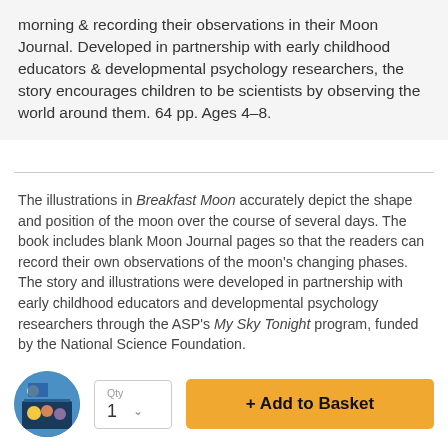morning & recording their observations in their Moon Journal. Developed in partnership with early childhood educators & developmental psychology researchers, the story encourages children to be scientists by observing the world around them. 64 pp. Ages 4–8.
The illustrations in Breakfast Moon accurately depict the shape and position of the moon over the course of several days. The book includes blank Moon Journal pages so that the readers can record their own observations of the moon's changing phases. The story and illustrations were developed in partnership with early childhood educators and developmental psychology researchers through the ASP's My Sky Tonight program, funded by the National Science Foundation.
[Figure (illustration): Circular thumbnail image of a children's book cover showing illustrated children characters, used as a product image]
+ Add to Basket